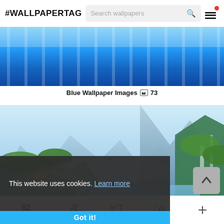#WALLPAPERTAG  Search wallpapers
[Figure (photo): Blue wallpaper with light streaks on gradient blue background]
Blue Wallpaper Images  73
[Figure (photo): Fantasy landscape with mountains, waterfalls, green trees, and Asian-style pagodas]
This website uses cookies.  Learn more
Got it!
62 SHARES